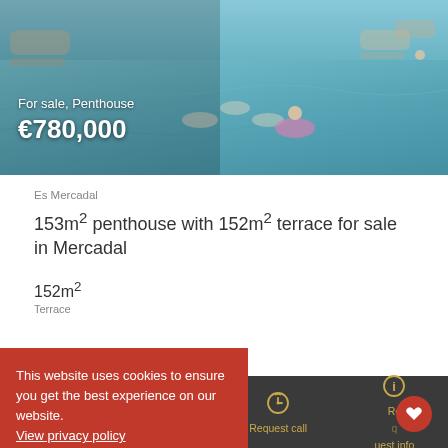[Figure (photo): Aerial/overhead view of a swimming pool with people relaxing, lounge chairs visible, turquoise water]
For sale, Penthouse
€780,000
Es Mercadal
153m² penthouse with 152m² terrace for sale in Mercadal
152m²
Terrace
This website uses cookies to ensure you get the best experience on our website. View privacy policy
Accept and close
Call us | WhatsApp | Request call | Request info